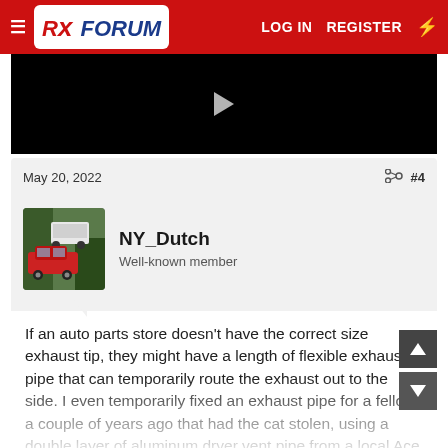RX FORUM  LOG IN  REGISTER
[Figure (screenshot): Video player with black background and play button]
May 20, 2022  #4
[Figure (photo): Avatar photo of NY_Dutch - shows a red car near a white vehicle in a wooded area]
NY_Dutch
Well-known member
If an auto parts store doesn't have the correct size exhaust tip, they might have a length of flexible exhaust pipe that can temporarily route the exhaust out to the side. I even temporarily fixed an exhaust pipe for a fellow a couple of years ago that had the cat stolen, using a double layer of aluminum dryer vent pipe from a local Ace hardware store and 4"